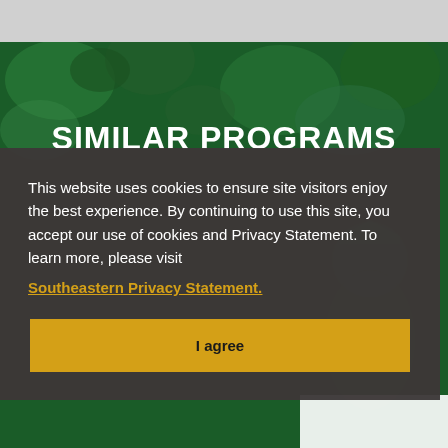[Figure (photo): Dark green background with foliage/leaves texture and a figure wearing a graduation cap on the right side]
SIMILAR PROGRAMS
This website uses cookies to ensure site visitors enjoy the best experience. By continuing to use this site, you accept our use of cookies and Privacy Statement. To learn more, please visit
Southeastern Privacy Statement.
I agree